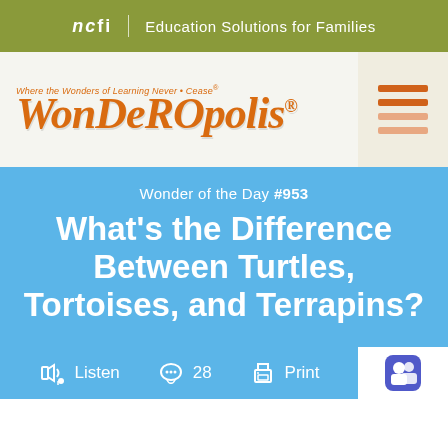ncfi | Education Solutions for Families
[Figure (logo): Wonderopolis logo with tagline 'Where the Wonders of Learning Never Cease' and hamburger menu icon]
Wonder of the Day #953
What's the Difference Between Turtles, Tortoises, and Terrapins?
Listen   28   Print